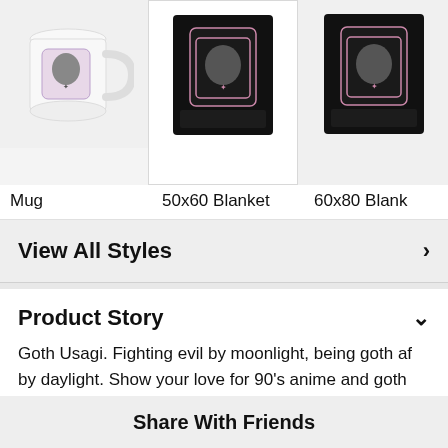[Figure (photo): Product thumbnail images: white ceramic mug with gothic anime design, 50x60 black blanket with gothic anime design, 60x80 black blanket with gothic anime design (partially cropped)]
Mug
50x60 Blanket
60x80 Blank
View All Styles
Product Story
Goth Usagi. Fighting evil by moonlight, being goth af by daylight. Show your love for 90's anime and goth fashion with this design.
Product Features
Share With Friends